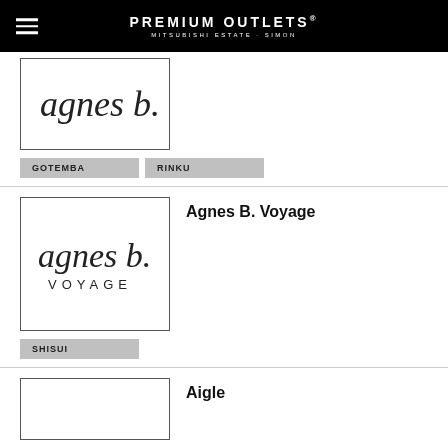PREMIUM OUTLETS MITSUBISHI ESTATE · SIMON
[Figure (logo): agnes b. logo in cursive script]
GOTEMBA
RINKU
Agnes B. Voyage
[Figure (logo): agnes b. VOYAGE logo with cursive script and spaced capitals]
SHISUI
Aigle
[Figure (logo): Aigle logo (partial, bottom of page)]